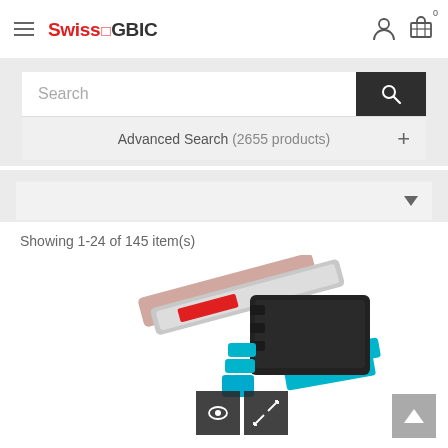SwissGBIC
Search
Advanced Search (2655 products)
Showing 1-24 of 145 item(s)
[Figure (photo): Product photo of SwissGBIC fiber optic transceivers/DAC cables — multiple modules including silver QSFP+ cables and black/teal DAC connectors, with two dark overlay icon buttons (eye icon and expand icon) at the bottom.]